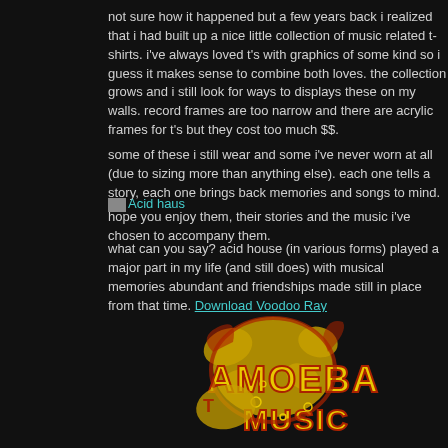not sure how it happened but a few years back i realized that i had built up a nice little collection of music related t-shirts. i've always loved t's with graphics of some kind so i guess it makes sense to combine both loves. the collection grows and i still look for ways to displays these on my walls. record frames are too narrow and there are acrylic frames for t's but they cost too much $$.
some of these i still wear and some i've never worn at all (due to sizing more than anything else). each one tells a story, each one brings back memories and songs to mind.
hope you enjoy them, their stories and the music i've chosen to accompany them.
Acid haus (link with icon)
what can you say? acid house (in various forms) played a major part in my life (and still does) with musical memories abundant and friendships made still in place from that time. Download Voodoo Ray
[Figure (photo): Amoeba Music logo — yellow and red stylized lettering on dark background, psychedelic/retro design]